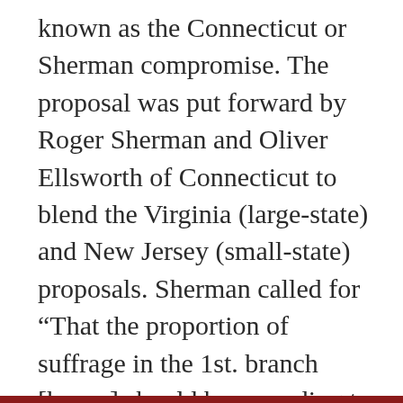known as the Connecticut or Sherman compromise. The proposal was put forward by Roger Sherman and Oliver Ellsworth of Connecticut to blend the Virginia (large-state) and New Jersey (small-state) proposals. Sherman called for “That the proportion of suffrage in the 1st. branch [house] should be according to the respective numbers of free inhabitants; and that in the second branch or Senate, each State should